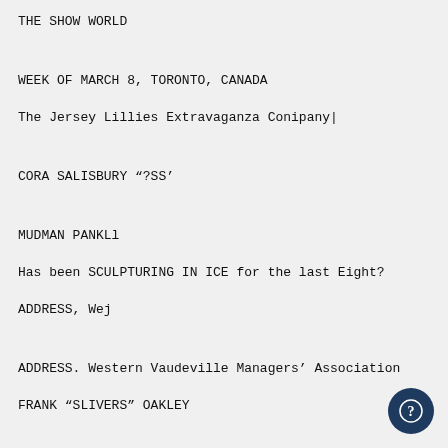THE SHOW WORLD
WEEK OF MARCH 8, TORONTO, CANADA
The Jersey Lillies Extravaganza Conipany|
CORA SALISBURY “?SS’
MUDMAN PANKLl
Has been SCULPTURING IN ICE for the last Eight?
ADDRESS, Wej
ADDRESS. Western Vaudeville Managers’ Association
FRANK “SLIVERS” OAKLEY